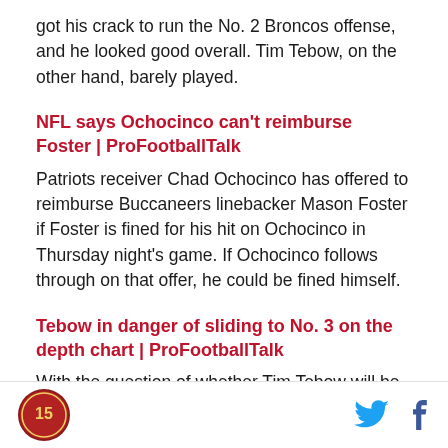got his crack to run the No. 2 Broncos offense, and he looked good overall. Tim Tebow, on the other hand, barely played.
NFL says Ochocinco can't reimburse Foster | ProFootballTalk
Patriots receiver Chad Ochocinco has offered to reimburse Buccaneers linebacker Mason Foster if Foster is fined for his hit on Ochocinco in Thursday night's game. If Ochocinco follows through on that offer, he could be fined himself.
Tebow in danger of sliding to No. 3 on the depth chart | ProFootballTalk
With the question of whether Tim Tebow will be the
Logo | Twitter | Facebook